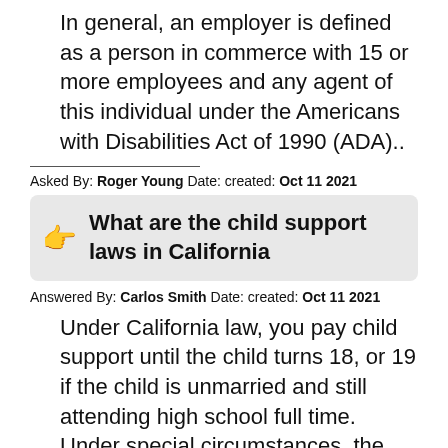In general, an employer is defined as a person in commerce with 15 or more employees and any agent of this individual under the Americans with Disabilities Act of 1990 (ADA)..
Asked By: Roger Young Date: created: Oct 11 2021
What are the child support laws in California
Answered By: Carlos Smith Date: created: Oct 11 2021
Under California law, you pay child support until the child turns 18, or 19 if the child is unmarried and still attending high school full time. Under special circumstances, the court may order child support to continue after the child becomes adult.